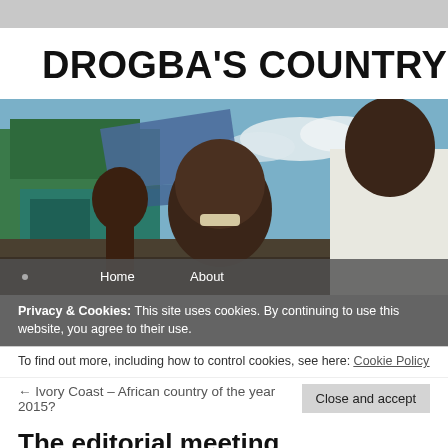DROGBA'S COUNTRY
[Figure (photo): Outdoor photo showing smiling African children and a young adult man in a white t-shirt, with a green building and blue sky in the background. Navigation bar overlay at bottom with 'Home' and 'About' links.]
Privacy & Cookies: This site uses cookies. By continuing to use this website, you agree to their use.
To find out more, including how to control cookies, see here: Cookie Policy
← Ivory Coast – African country of the year 2015?
The editorial meeting